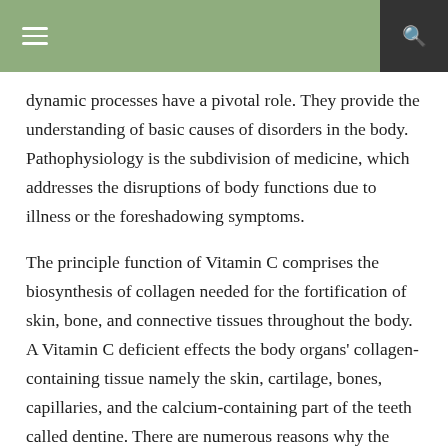≡  🔍
dynamic processes have a pivotal role. They provide the understanding of basic causes of disorders in the body. Pathophysiology is the subdivision of medicine, which addresses the disruptions of body functions due to illness or the foreshadowing symptoms.
The principle function of Vitamin C comprises the biosynthesis of collagen needed for the fortification of skin, bone, and connective tissues throughout the body. A Vitamin C deficient effects the body organs' collagen-containing tissue namely the skin, cartilage, bones, capillaries, and the calcium-containing part of the teeth called dentine. There are numerous reasons why the observation of